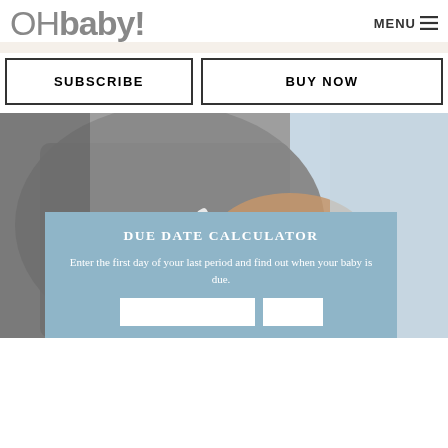OHbaby! MENU
SUBSCRIBE
BUY NOW
[Figure (photo): Person holding a pregnancy test, wearing a grey t-shirt, hands visible against chest]
DUE DATE CALCULATOR
Enter the first day of your last period and find out when your baby is due.